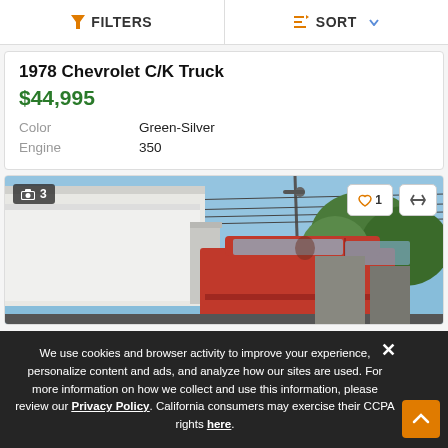FILTERS  SORT
1978 Chevrolet C/K Truck
$44,995
|  |  |
| --- | --- |
| Color | Green-Silver |
| Engine | 350 |
[Figure (photo): Photo of a red vintage Chevrolet truck parked outdoors with utility vehicles and trees in the background. Image counter badge showing 3 photos, heart/favourite button showing 1 like, and compare button.]
We use cookies and browser activity to improve your experience, personalize content and ads, and analyze how our sites are used. For more information on how we collect and use this information, please review our Privacy Policy. California consumers may exercise their CCPA rights here.